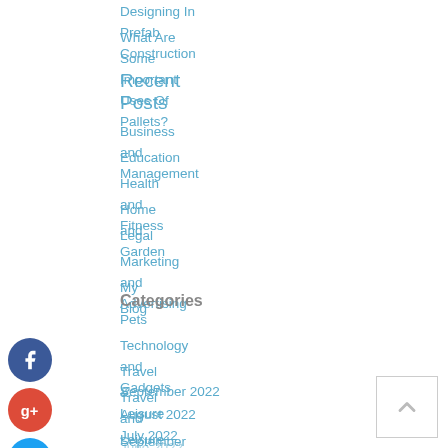Designing In Prefab Construction
What Are Some Important Uses Of Pallets?
Recent Posts
Business and Management
Education
Health and Fitness
Home and Garden
Legal
Marketing and Advertising
My Blog
Categories
Pets
Technology and Gadgets
Travel & Leisure
Travel and Leisure
September 2022
August 2022
July 2022
June 2022